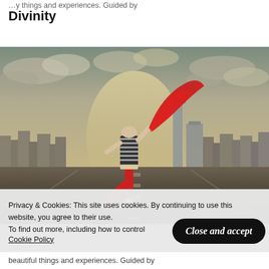Divinity
[Figure (photo): Person dancing on a road in front of a city skyline, wearing red pants and a striped top, waving a large red fabric in the air. Dramatic cloudy sky background.]
Privacy & Cookies: This site uses cookies. By continuing to use this website, you agree to their use.
To find out more, including how to control cookies, see here:
Cookie Policy
Close and accept
beautiful things and experiences. Guided by